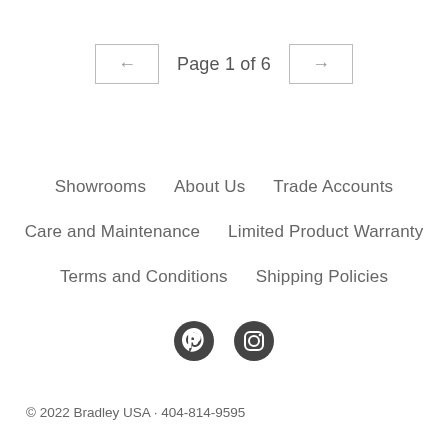← Page 1 of 6 →
Showrooms
About Us
Trade Accounts
Care and Maintenance
Limited Product Warranty
Terms and Conditions
Shipping Policies
[Figure (logo): Pinterest and Instagram social media icons]
© 2022 Bradley USA · 404-814-9595